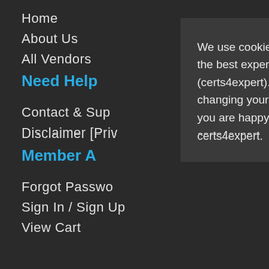Home
About Us
All Vendors
Need Help
Contact & Support
Disclaimer [Privacy Policy]
Member Area
Forgot Password
Sign In / Sign Up
View Cart
We use cookies to ensure that we give you the best experience on our website (certs4expert). If you continue without changing your settings, we'll assume that you are happy to receive all cookies on the certs4expert.
[Figure (logo): Certs4expert logo: blue background with graduation cap and gold stars on blue square]